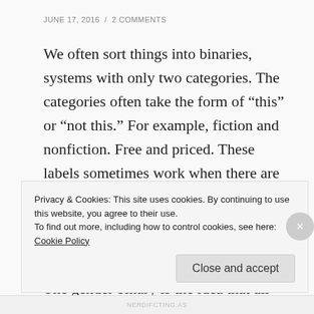JUNE 17, 2016  /  2 COMMENTS
We often sort things into binaries, systems with only two categories. The categories often take the form of “this” or “not this.” For example, fiction and nonfiction. Free and priced. These labels sometimes work when there are clear-cut differences between inanimate objects. However, people are rarely so simple.
The gender binary is the idea that all people are either entirely male or entirely female. No exceptions, nothing in between. We’ll point out how that idea is
Privacy & Cookies: This site uses cookies. By continuing to use this website, you agree to their use.
To find out more, including how to control cookies, see here: Cookie Policy
Close and accept